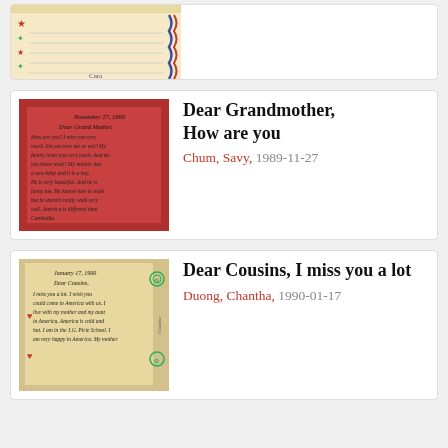[Figure (photo): Partial view of a handwritten letter on decorated stationery, cropped at top of page]
[Figure (photo): Handwritten letter on red/pink background dated November 27, 1989, addressed to Dear Grand Mother]
Dear Grandmother, How are you
Chum, Savy, 1989-11-27
[Figure (photo): Handwritten letter on beige/yellow paper dated January 17, 1990, addressed to Dear Cousins]
Dear Cousins, I miss you a lot
Duong, Chantha, 1990-01-17